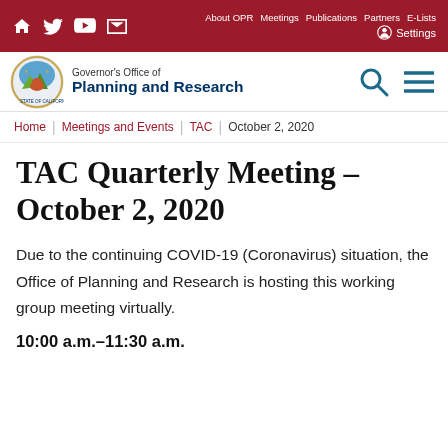About OPR  Meetings  Publications  Partners  E-Lists  Settings
[Figure (logo): California Governor's Office of Planning and Research seal logo with bear, mountains, and state imagery]
Governor's Office of Planning and Research
Home | Meetings and Events | TAC | October 2, 2020
TAC Quarterly Meeting – October 2, 2020
Due to the continuing COVID-19 (Coronavirus) situation, the Office of Planning and Research is hosting this working group meeting virtually.
10:00 a.m.–11:30 a.m.